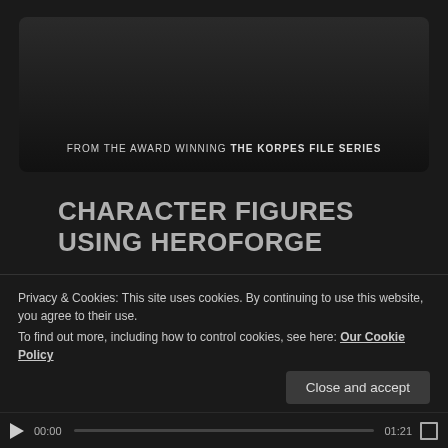[Figure (screenshot): Top portion of a video/media card showing book covers and banner text: FROM THE AWARD WINNING THE KORPES FILE SERIES]
CHARACTER FIGURES USING HEROFORGE
[Figure (screenshot): YouTube-style video player thumbnail showing WorldAnvil and HeroForge logos with video title: The Korpes File - Character Inde...]
Privacy & Cookies: This site uses cookies. By continuing to use this website, you agree to their use.
To find out more, including how to control cookies, see here: Our Cookie Policy
Close and accept
00:00  01:21